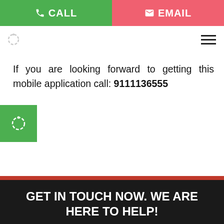[Figure (screenshot): Top navigation bar with CALL (green) and EMAIL (pink/red) buttons]
If you are looking forward to getting this mobile application call: 9111136555
[Figure (other): Green floating widget button with spinner icon]
GET IN TOUCH NOW. WE ARE HERE TO HELP!
[Figure (screenshot): Name input field with user icon placeholder]
[Figure (screenshot): E-Mail input field with envelope icon placeholder]